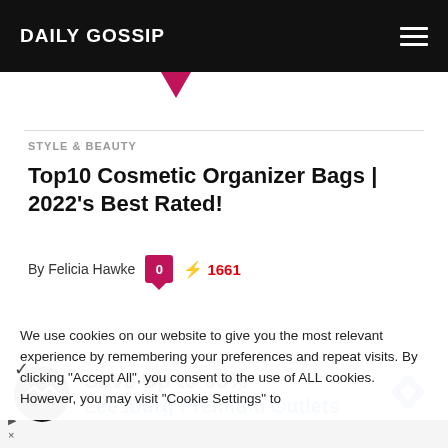DAILY GOSSIP
STYLE & BEAUTY
Top10 Cosmetic Organizer Bags | 2022's Best Rated!
By Felicia Hawke  0  ⚡ 1661
We use cookies on our website to give you the most relevant experience by remembering your preferences and repeat visits. By clicking "Accept All", you consent to the use of ALL cookies. However, you may visit "Cookie Settings" to
[Figure (infographic): Advertisement banner: Save Up to 65% Leesburg Premium Outlets with circular logo and blue diamond direction sign]